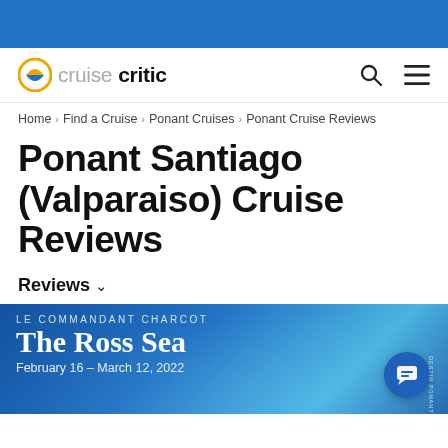[Figure (logo): Cruise Critic logo with orange/blue circular icon and text 'cruisecritic']
Home > Find a Cruise > Ponant Cruises > Ponant Cruise Reviews
Ponant Santiago (Valparaiso) Cruise Reviews
Reviews ∨
[Figure (photo): Le Commandant Charcot – The Ross Sea, February 16 – March 12, 2022. Blue ocean banner advertisement with ship/ice imagery.]